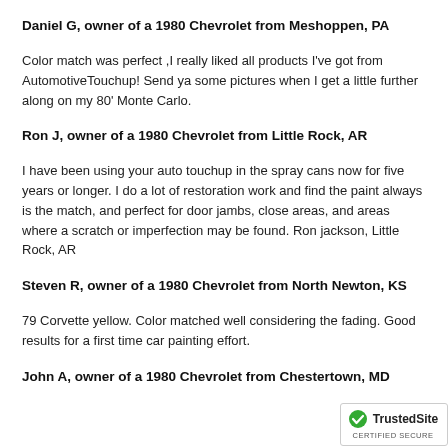Daniel G, owner of a 1980 Chevrolet from Meshoppen, PA
Color match was perfect ,I really liked all products I've got from AutomotiveTouchup! Send ya some pictures when I get a little further along on my 80' Monte Carlo.
Ron J, owner of a 1980 Chevrolet from Little Rock, AR
I have been using your auto touchup in the spray cans now for five years or longer. I do a lot of restoration work and find the paint always is the match, and perfect for door jambs, close areas, and areas where a scratch or imperfection may be found. Ron jackson, Little Rock, AR
Steven R, owner of a 1980 Chevrolet from North Newton, KS
79 Corvette yellow. Color matched well considering the fading. Good results for a first time car painting effort.
John A, owner of a 1980 Chevrolet from Chestertown, MD
[Figure (logo): TrustedSite Certified Secure badge with green checkmark]